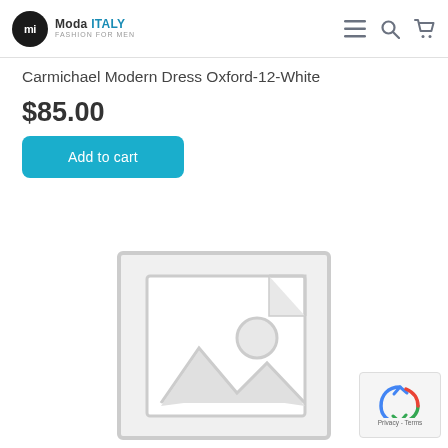mi Moda ITALY FASHION FOR MEN
Carmichael Modern Dress Oxford-12-White
$85.00
Add to cart
[Figure (illustration): Placeholder image with mountain and sun icon inside a picture frame outline, light gray on white background]
[Figure (other): reCAPTCHA Privacy - Terms overlay badge in bottom right corner]